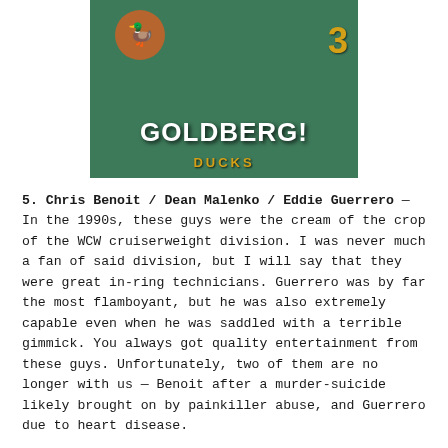[Figure (photo): A green Mighty Ducks jersey/jacket with the number 3 visible and 'GOLDBERG!' text overlaid at the bottom center, with a mascot patch visible at top left.]
5. Chris Benoit / Dean Malenko / Eddie Guerrero — In the 1990s, these guys were the cream of the crop of the WCW cruiserweight division. I was never much a fan of said division, but I will say that they were great in-ring technicians. Guerrero was by far the most flamboyant, but he was also extremely capable even when he was saddled with a terrible gimmick. You always got quality entertainment from these guys. Unfortunately, two of them are no longer with us — Benoit after a murder-suicide likely brought on by painkiller abuse, and Guerrero due to heart disease.
Best memory: I just remember a crapload of